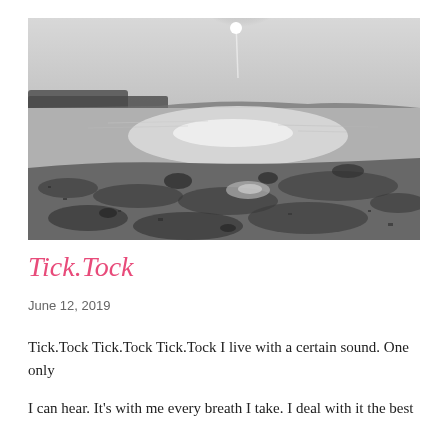[Figure (photo): Black and white landscape photograph of a coastal or estuary scene at low tide. The foreground shows mudflats with rocky and seaweed-covered ground. In the middle distance there is a body of water reflecting bright sunlight. A line of trees and low hills appears on the horizon. The sun is bright near the top center of the image, creating a lens flare effect. The sky is light grey.]
Tick.Tock
June 12, 2019
Tick.Tock Tick.Tock Tick.Tock I live with a certain sound. One only I can hear. It's with me every breath I take. I deal with it the best